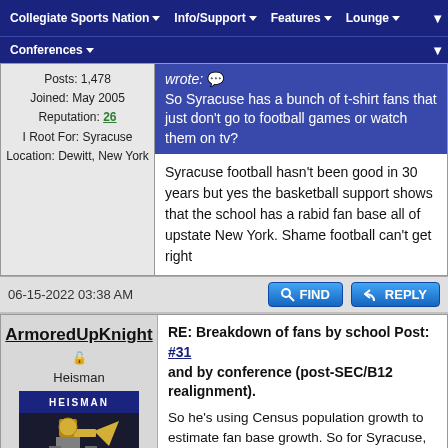Collegiate Sports Nation | Info/Support | Features | Lounge | Conferences
wrote: So Syracuse has a bunch of t-shirt fans that just don't go to football games or watch them on tv?
Posts: 1,478
Joined: May 2005
Reputation: 26
I Root For: Syracuse
Location: Dewitt, New York
Syracuse football hasn't been good in 30 years but yes the basketball support shows that the school has a rabid fan base all of upstate New York. Shame football can't get right
06-15-2022 03:38 AM
ArmoredUpKnight
Heisman
Posts: 6,988
Joined: Dec 2009
Reputation: 286
I Root For: UCF Knights
Location: Fort Lauderdale, FL
RE: Breakdown of fans by school Post: #31 and by conference (post-SEC/B12 realignment).
So he's using Census population growth to estimate fan base growth. So for Syracuse, he had 2011 fan data and used New York's population growth from from 2011 to 2020 as a multiplier for the 2011 fan base data.

That's patently absurd.